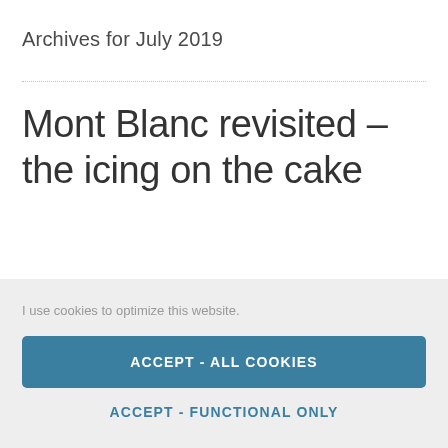Archives for July 2019
Mont Blanc revisited – the icing on the cake
I use cookies to optimize this website.
ACCEPT - ALL COOKIES
ACCEPT - FUNCTIONAL ONLY